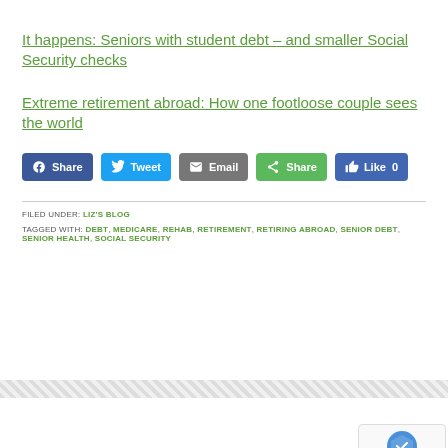It happens: Seniors with student debt – and smaller Social Security checks
Extreme retirement abroad: How one footloose couple sees the world
[Figure (other): Social sharing buttons row: Facebook Share, Twitter Tweet, Email, Share (green), and Facebook Like 0 button]
FILED UNDER: LIZ'S BLOG
TAGGED WITH: DEBT, MEDICARE, REHAB, RETIREMENT, RETIRING ABROAD, SENIOR DEBT, SENIOR HEALTH, SOCIAL SECURITY
[Figure (other): reCAPTCHA badge with Privacy and Terms links]